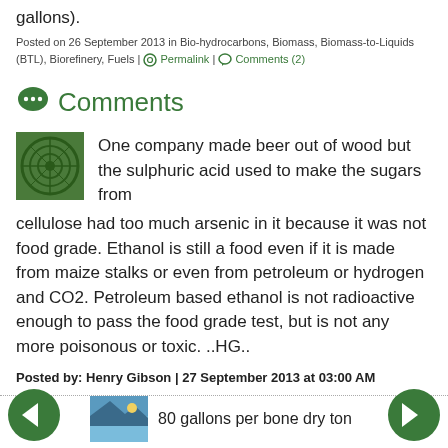gallons).
Posted on 26 September 2013 in Bio-hydrocarbons, Biomass, Biomass-to-Liquids (BTL), Biorefinery, Fuels | ⚙ Permalink | 💬 Comments (2)
Comments
One company made beer out of wood but the sulphuric acid used to make the sugars from cellulose had too much arsenic in it because it was not food grade. Ethanol is still a food even if it is made from maize stalks or even from petroleum or hydrogen and CO2. Petroleum based ethanol is not radioactive enough to pass the food grade test, but is not any more poisonous or toxic. ..HG..
Posted by: Henry Gibson | 27 September 2013 at 03:00 AM
80 gallons per bone dry ton